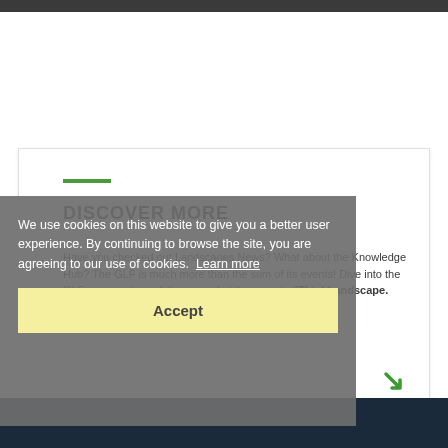DISCOVER MORE
Have you checked out Landscapes News? What about the Knowledge Hub? The GLF is much more than the sum of its events! Dive into the GLF community and discover what it means to #ThinkLandscape.
We use cookies on this website to give you a better user experience. By continuing to browse the site, you are agreeing to our use of cookies. Learn more
Accept